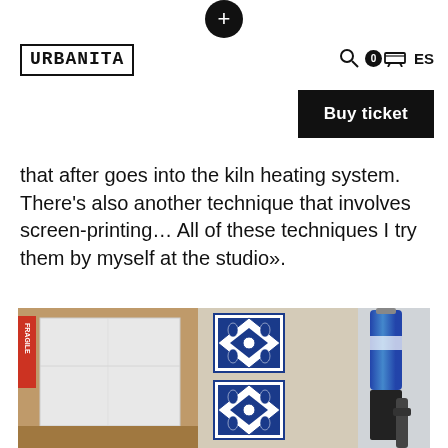+
[Figure (logo): URBANITZA logo in bold monospace font inside a rectangular border]
0  ES
Buy ticket
that after goes into the kiln heating system. There's also another technique that involves screen-printing… All of these techniques I try them by myself at the studio».
[Figure (photo): Studio photo showing a white packaged item in a cardboard box, blue and white decorative tiles with intricate patterns, and a blue spray can or tube with dark metal tool on a beige surface]